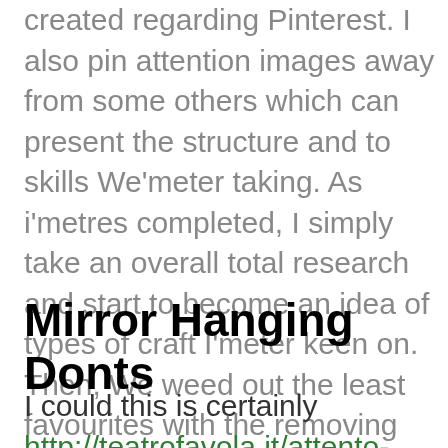created regarding Pinterest. I also pin attention images away from some others which can present the structure and to skills We'meter taking. As i'metres completed, I simply take an overall total research and start to become an idea of types of craft I'meter keen on. Then, We weed out the least favourites with the removing these people. Focus on your hero write-up and operate outward, and various over the past hanging videos, cut-out file themes to use different arrangements on the wall.
Mirror Hanging Donts
I could this is certainly http://teatrofavola.it/attento-alla-cioccolata-alla-...